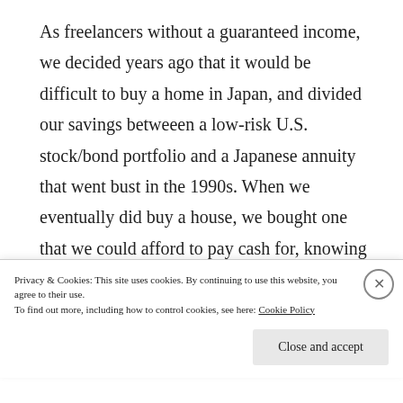As freelancers without a guaranteed income, we decided years ago that it would be difficult to buy a home in Japan, and divided our savings betweeen a low-risk U.S. stock/bond portfolio and a Japanese annuity that went bust in the 1990s. When we eventually did buy a house, we bought one that we could afford to pay cash for, knowing that it would eventually be worth nothing—five years after moving in, it is now assessed at one-third the price we paid for it. As our twilight years approach, we seem to be in relatively good shape in that our
Privacy & Cookies: This site uses cookies. By continuing to use this website, you agree to their use. To find out more, including how to control cookies, see here: Cookie Policy
Close and accept